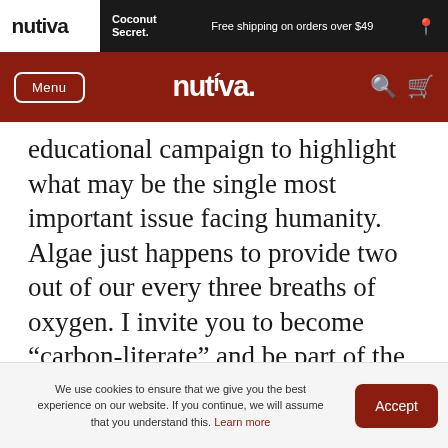nutiva | Coconut Secret | Free shipping on orders over $49
Menu | nutiva
educational campaign to highlight what may be the single most important issue facing humanity. Algae just happens to provide two out of our every three breaths of oxygen. I invite you to become “carbon-literate” and be part of the solution. Below are a list of resources on the subject.
We use cookies to ensure that we give you the best experience on our website. If you continue, we will assume that you understand this. Learn more